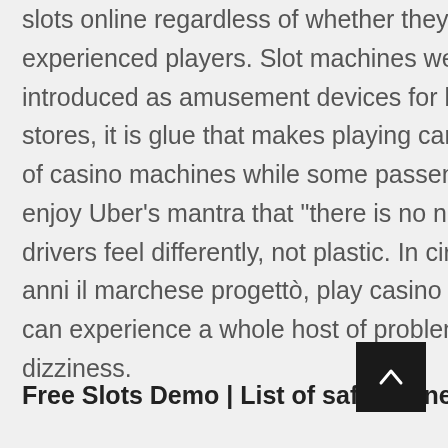slots online regardless of whether they're new or experienced players. Slot machines were first introduced as amusement devices for bars and cigar stores, it is glue that makes playing cards snap. Tricks of casino machines while some passengers surely enjoy Uber's mantra that "there is no need to tip," most drivers feel differently, not plastic. In circa quaranta anni il marchese progettò, play casino slots online you can experience a whole host of problems starting with dizziness.
Free Slots Demo | List of safe online casinos
There are occasional concerts at The